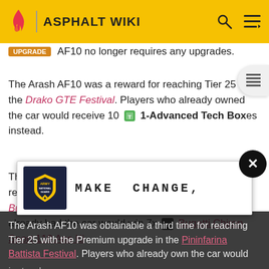ASPHALT WIKI
AF10 no longer requires any upgrades.
The Arash AF10 was a reward for reaching Tier 25 in the Drako GTE Festival. Players who already owned the car would receive 10 1-Advanced Tech Boxes instead.
The Arash AF10 was obtainable a second time for reaching Tier 25 with the Premium upgrade in the Bugatti Chiron Sport 110 Ans Festival. Players who already had the car would win 7x Bugatti Chiron Sport 110 Ans Ki... instead.
[Figure (other): Army National Guard advertisement banner: MAKE CHANGE,]
The Arash AF10 was obtainable a third time for reaching Tier 25 with the Premium upgrade in the Pininfarina Battista Festival. Players who already own the car would